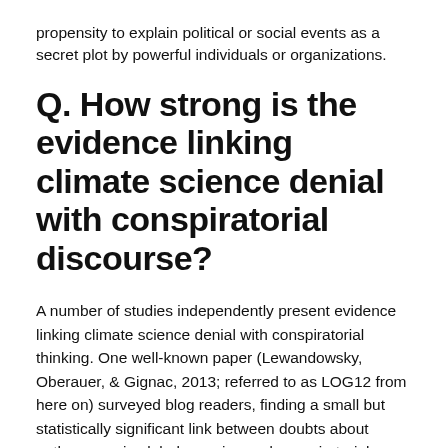propensity to explain political or social events as a secret plot by powerful individuals or organizations.
Q. How strong is the evidence linking climate science denial with conspiratorial discourse?
A number of studies independently present evidence linking climate science denial with conspiratorial thinking. One well-known paper (Lewandowsky, Oberauer, & Gignac, 2013; referred to as LOG12 from here on) surveyed blog readers, finding a small but statistically significant link between doubts about anthropogenic global warming and conspiratorial thinking. LOG12 inspired the conspiratorial reaction in the blogosphere that is reported in Recurrent